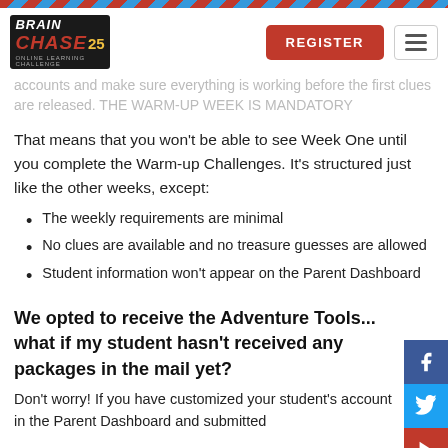[Figure (logo): Brain Chase online learning challenge logo with red and black color scheme]
accounts and make sure everything is working before the first clues are released. THE WARM-UP WEEK IS MANDATORY
That means that you won't be able to see Week One until you complete the Warm-up Challenges. It's structured just like the other weeks, except:
The weekly requirements are minimal
No clues are available and no treasure guesses are allowed
Student information won't appear on the Parent Dashboard
We opted to receive the Adventure Tools... what if my student hasn't received any packages in the mail yet?
Don't worry! If you have customized your student's account in the Parent Dashboard and submitted